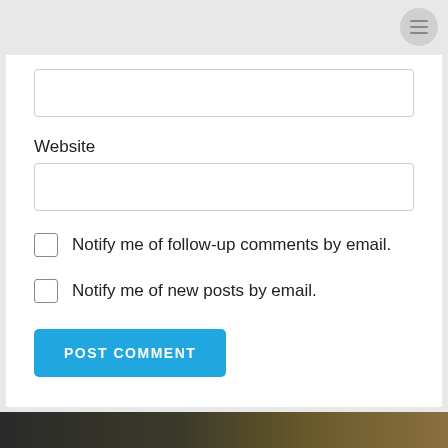[Figure (other): Hamburger menu icon (three horizontal lines in a grey circle) in top-right corner]
Website
Notify me of follow-up comments by email.
Notify me of new posts by email.
POST COMMENT